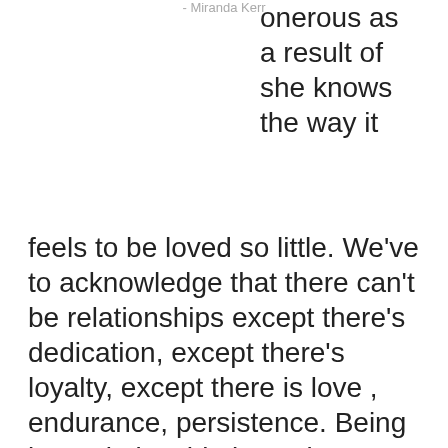- Miranda Kerr
onerous as a result of she knows the way it feels to be loved so little. We've to acknowledge that there can't be relationships except there's dedication, except there's loyalty, except there is love , endurance, persistence. Being in a relationship is not just about expressing your affection and love by way of phrases.
It is so nice to search out one particular individual you wish to annoy for the remainder of your life. That can assist you with this, here's a collection of cute